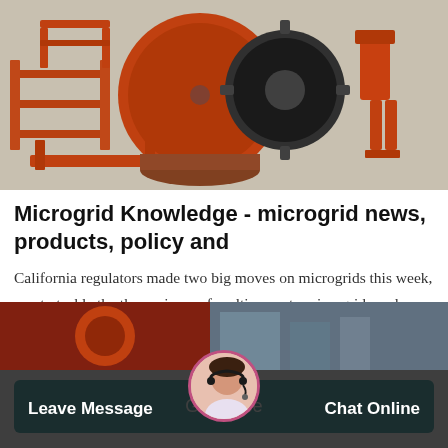[Figure (photo): Industrial orange-painted mining/milling machinery including ball mills, gear wheels, and metal frames on a concrete floor]
Microgrid Knowledge - microgrid news, products, policy and
California regulators made two big moves on microgrids this week, one to tackle the thorny issue of multiproperty microgrids and other to fast-track an investigation into how microgrids can help the state overcome immediate energy capacity shortfalls —…
[Figure (screenshot): Get Price button — teal/dark-cyan rounded rectangle button with white text]
[Figure (photo): Bottom strip showing industrial machinery, a customer service avatar circle in the center, Leave Message on the left and Chat Online on the right on a dark translucent background]